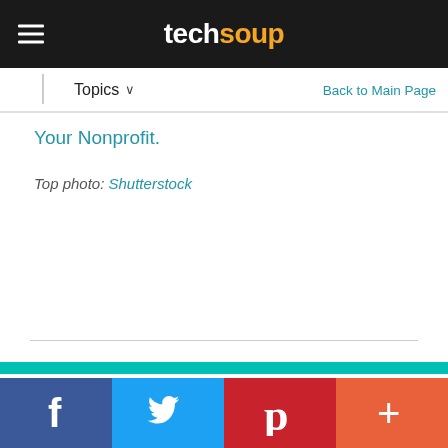techsoup
Topics ∨
Back to Main Page
Your Nonprofit.
Top photo: Shutterstock
[Figure (other): Social media sharing bar with Facebook, Twitter, Pinterest, and More buttons at the bottom of the page, with a teal stripe above]